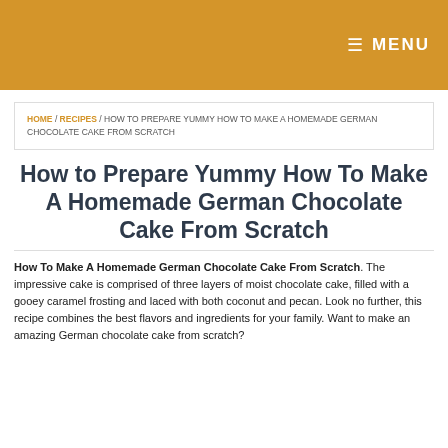MENU
HOME / RECIPES / HOW TO PREPARE YUMMY HOW TO MAKE A HOMEMADE GERMAN CHOCOLATE CAKE FROM SCRATCH
How to Prepare Yummy How To Make A Homemade German Chocolate Cake From Scratch
How To Make A Homemade German Chocolate Cake From Scratch. The impressive cake is comprised of three layers of moist chocolate cake, filled with a gooey caramel frosting and laced with both coconut and pecan. Look no further, this recipe combines the best flavors and ingredients for your family. Want to make an amazing German chocolate cake from scratch?